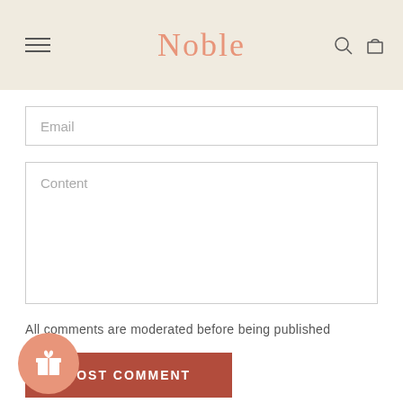Noble
Email
Content
All comments are moderated before being published
POST COMMENT